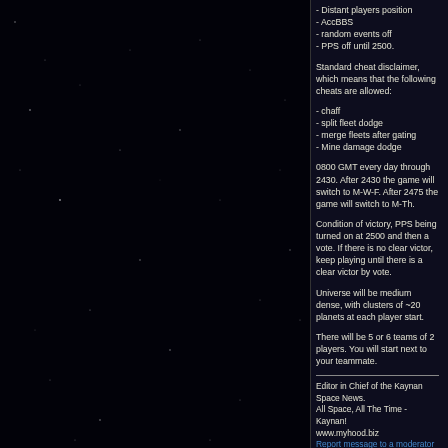- Distant players position
- AccBBS
- random events off
- PPS off until 2500.
Standard cheat disclaimer, which means that the following cheats are allowed:
- chaff
- split fleet dodge
- merge fleets after gating
- Mine damage dodge
0800 GMT every day through 2430. After 2430 the game will switch to M-W-F. After 2475 the game will switch to M-Th.
Condition of victory, PPS being turned on at 2500 and then a vote. If there is no clear victor, keep playing until there is a clear victor by vote.
Universe will be medium dense, with clusters of ~20 planets at each player start.
There will be 5 or 6 teams of 2 players. You will start next to your teammate.
Editor in Chief of the Kaynan Space News.
All Space, All The Time - Kaynan!
www.myhood.biz
Report message to a moderator